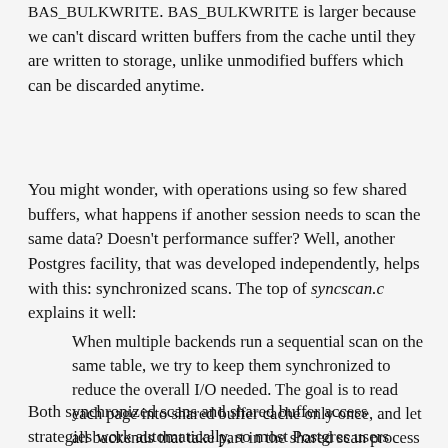Similarly, there is a write-ahead log, and BUF_WRITE_ALL BAS_BULKWRITE. BAS_BULKWRITE is larger because we can't discard written buffers from the cache until they are written to storage, unlike unmodified buffers which can be discarded anytime.
You might wonder, with operations using so few shared buffers, what happens if another session needs to scan the same data? Doesn't performance suffer? Well, another Postgres facility, that was developed independently, helps with this: synchronized scans. The top of syncscan.c explains it well:
When multiple backends run a sequential scan on the same table, we try to keep them synchronized to reduce the overall I/O needed. The goal is to read each page into shared buffer cache only once, and let all backends that take part in the shared scan process the page before it falls out of the cache.
Both synchronized scans and shared buffer access strategies work automatically, so most Postgres users don't even know